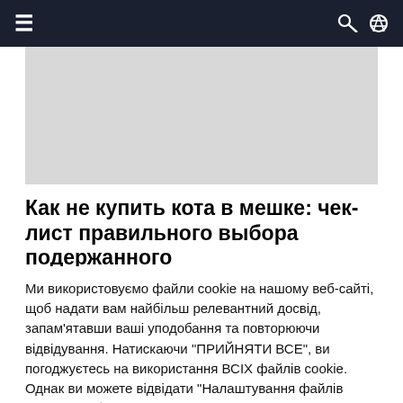≡   ⊲ 🔍
[Figure (photo): Gray image placeholder rectangle]
Как не купить кота в мешке: чек-лист правильного выбора подержанного
Ми використовуємо файли cookie на нашому веб-сайті, щоб надати вам найбільш релевантний досвід, запам'ятавши ваші уподобання та повторюючи відвідування. Натискаючи "ПРИЙНЯТИ ВСЕ", ви погоджуєтесь на використання ВСІХ файлів cookie. Однак ви можете відвідати "Налаштування файлів cookie", щоб надати контрольовану згоду.
НАЛАШТУВАННЯ Cookie   ВІДМОВИТИ УСІМ
ПРИНЯТИ УСІ